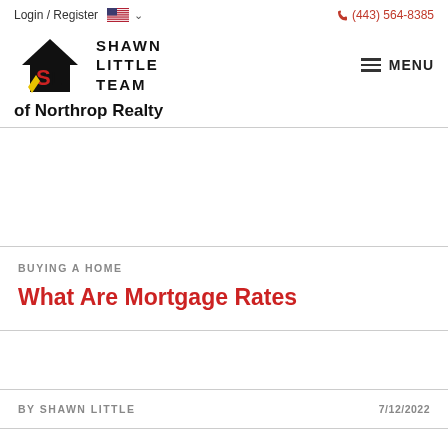Login / Register   (443) 564-8385
[Figure (logo): Shawn Little Team of Northrop Realty logo with stylized S and L house icon in black, red, and yellow]
of Northrop Realty
BUYING A HOME
What Are Mortgage Rates
BY SHAWN LITTLE
7/12/2022